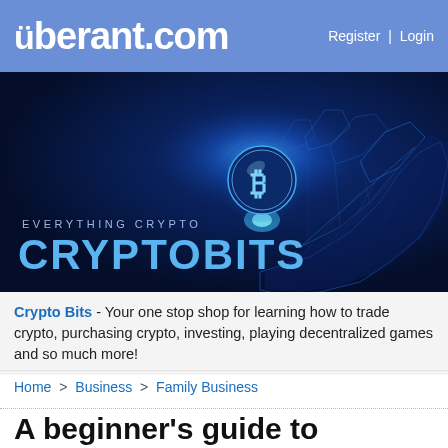überant.com — Register | Login
[Figure (illustration): Dark navy blue background with a geometric wireframe robotic hand holding a glowing blue Bitcoin coin with the letter B, with polygon mesh lines creating a futuristic low-poly style. Text overlay reads 'EVERYTHING CRYPTO' and 'CRYPTOBITS'.]
Crypto Bits - Your one stop shop for learning how to trade crypto, purchasing crypto, investing, playing decentralized games and so much more!
Home > Business > Family Business
A beginner's guide to